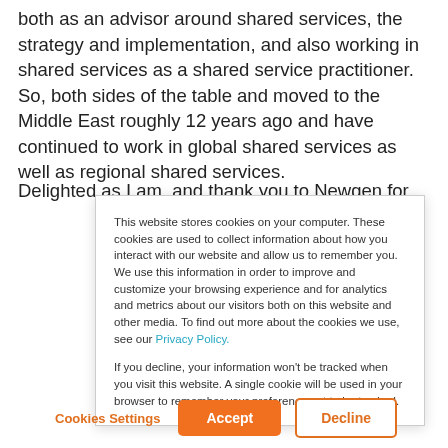both as an advisor around shared services, the strategy and implementation, and also working in shared services as a shared service practitioner. So, both sides of the table and moved to the Middle East roughly 12 years ago and have continued to work in global shared services as well as regional shared services.
Delighted as I am, and thank you to Newgen for
This website stores cookies on your computer. These cookies are used to collect information about how you interact with our website and allow us to remember you. We use this information in order to improve and customize your browsing experience and for analytics and metrics about our visitors both on this website and other media. To find out more about the cookies we use, see our Privacy Policy.

If you decline, your information won't be tracked when you visit this website. A single cookie will be used in your browser to remember your preference not to be tracked.
Cookies Settings | Accept | Decline